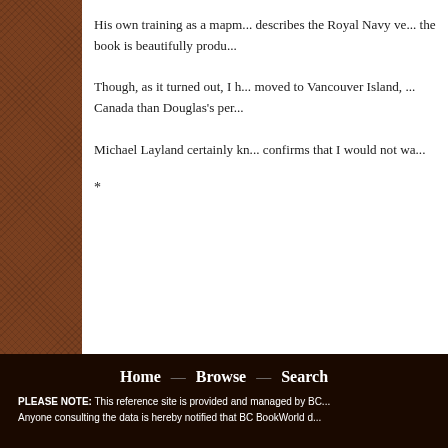His own training as a mapm... describes the Royal Navy ve... the book is beautifully produ...
Though, as it turned out, I h... moved to Vancouver Island, ... Canada than Douglas's per...
Michael Layland certainly kn... confirms that I would not wa...
*
Home — Browse — Search
PLEASE NOTE: This reference site is provided and managed by BC... Anyone consulting the data is hereby notified that BC BookWorld d...